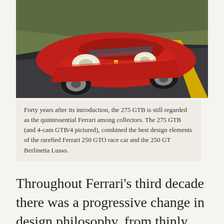[Figure (photo): Front three-quarter view of a red Ferrari 275 GTB/4 driving on a road with yellow center line, grass in background.]
Forty years after its introduction, the 275 GTB is still regarded as the quintessential Ferrari among collectors. The 275 GTB (and 4-cam GTB/4 pictured), combined the best design elements of the rarefied Ferrari 250 GTO race car and the 250 GT Berlinetta Lusso.
Throughout Ferrari's third decade there was a progressive change in design philosophy, from thinly disguised racers to comfortable and